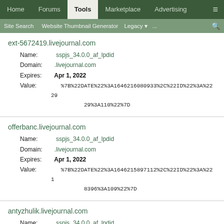Home | Forums | Tools | Marketplace | Advertising | ≡
Site Search | Website Thumbnail Generator | Legacy ▾ | ... | 🔍
ext-5672419.livejournal.com
Name: sspjs_34.0.0_af_lpdid
Domain: .livejournal.com
Expires: Apr 1, 2022
Value: %7B%22DATE%22%3A1646216080933%2C%22ID%22%3A%2229 29%3A110%22%7D
offerbanc.livejournal.com
Name: sspjs_34.0.0_af_lpdid
Domain: .livejournal.com
Expires: Apr 1, 2022
Value: %7B%22DATE%22%3A1646215897112%2C%22ID%22%3A%2218396%3A109%22%7D
antyzhulik.livejournal.com
Name: sspjs_34.0.0_af_lpdid
Domain: .livejournal.com
Expires: Apr 1, 2022
Value: %7B%22DATE%22%3A1646215116414%2C%22ID%22%3A%2212043%3A100%22%7D
vintagegulley.livejournal.com